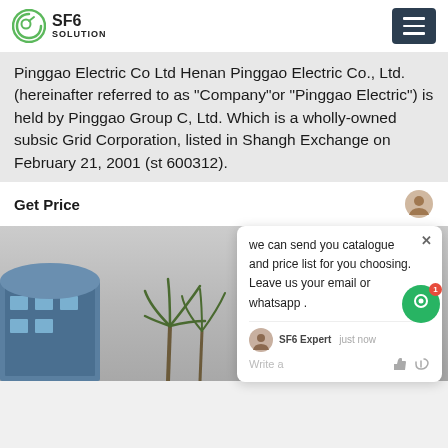SF6 SOLUTION
Pinggao Electric Co Ltd Henan Pinggao Electric Co., Ltd. (hereinafter referred to as "Company"or "Pinggao Electric") is held by Pinggao Group C, Ltd. Which is a wholly-owned subsic Grid Corporation, listed in Shangh Exchange on February 21, 2001 (st 600312).
Get Price
[Figure (screenshot): Chat popup overlay showing message: 'we can send you catalogue and price list for you choosing. Leave us your email or whatsapp .' with SF6 Expert avatar, 'just now' timestamp, and Write a message input area with thumbs up and paperclip icons. Green circular chat button with notification badge showing 1.]
[Figure (photo): Exterior photo of an industrial or commercial building complex in foggy/hazy conditions, with a blue-accented building on the left, palm trees in the middle, and a lattice structure on the right.]